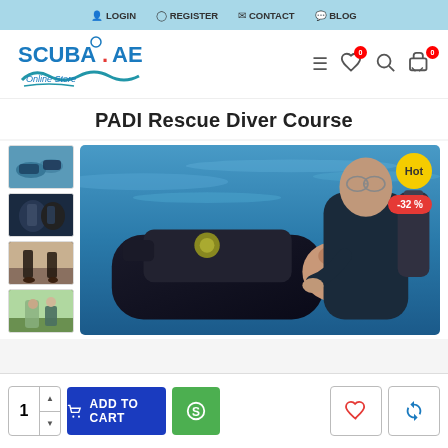LOGIN  REGISTER  CONTACT  BLOG
[Figure (logo): SCUBA.AE Online Store logo in blue]
PADI Rescue Diver Course
[Figure (photo): Main product image: scuba diver in water performing rescue on another diver. Badges: Hot, -32%]
[Figure (photo): Thumbnail 1: two divers in water]
[Figure (photo): Thumbnail 2: two divers in dark water]
[Figure (photo): Thumbnail 3: divers on shore]
[Figure (photo): Thumbnail 4: instructor with student]
ADD TO CART  1  -32 %  Hot